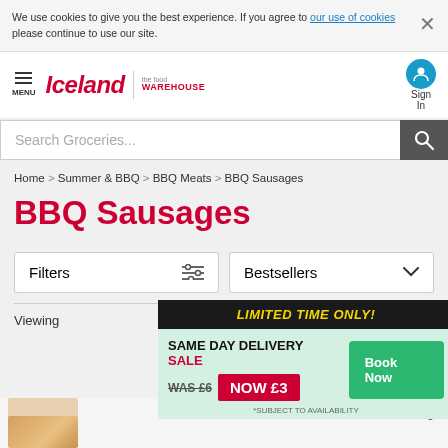We use cookies to give you the best experience. If you agree to our use of cookies please continue to use our site.
[Figure (logo): Iceland and The Food Warehouse logos with navigation menu and sign in button]
Search Groceries...
Home > Summer & BBQ > BBQ Meats > BBQ Sausages
BBQ Sausages
Filters
Bestsellers
Viewing
[Figure (infographic): Promotional popup ad: LIMITED TIME ONLY! SAME DAY DELIVERY SALE WAS £6 NOW £3 Book Now *SUBJECT TO AVAILABILITY]